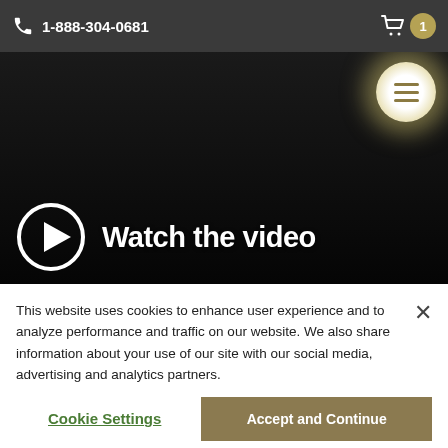1-888-304-0681
[Figure (screenshot): Dark hero video area with a play button circle and 'Watch the video' text, plus a circular hamburger menu button in the upper right corner]
This website uses cookies to enhance user experience and to analyze performance and traffic on our website. We also share information about your use of our site with our social media, advertising and analytics partners.
Cookie Settings
Accept and Continue